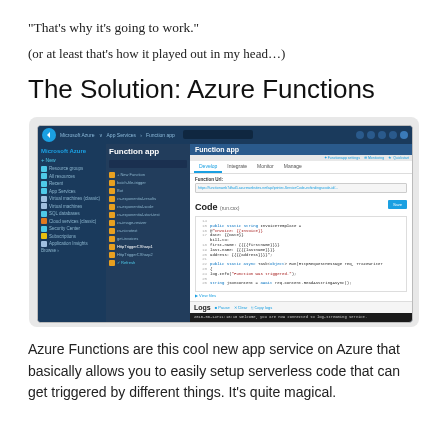“That’s why it’s going to work.”
(or at least that’s how it played out in my head…)
The Solution: Azure Functions
[Figure (screenshot): Screenshot of Microsoft Azure portal showing the Function app interface with a code editor displaying a C# function template with fields for invoice, date, and bill-to information, along with function URL, Develop/Integrate/Monitor/Manage tabs, and Logs section at the bottom.]
Azure Functions are this cool new app service on Azure that basically allows you to easily setup serverless code that can get triggered by different things. It’s quite magical.